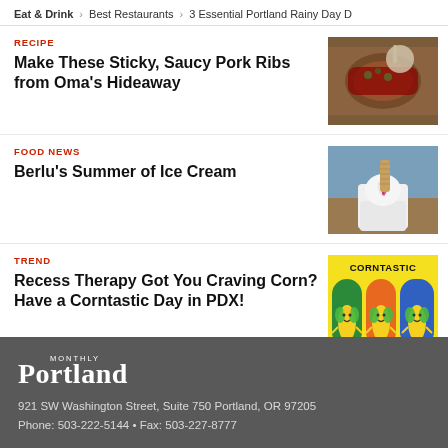Eat & Drink > Best Restaurants > 3 Essential Portland Rainy Day D
RECIPE
Make These Sticky, Saucy Pork Ribs from Oma's Hideaway
[Figure (photo): Photo of sticky pork ribs in a bowl with garnish, hands visible]
FOOD NEWS
Berlu's Summer of Ice Cream
[Figure (photo): Photo of ice cream in a white cup with a wafer stick]
TREND
Recess Therapy Got You Craving Corn? Have a Corntastic Day in PDX!
[Figure (illustration): Colorful illustration with CORNTASTIC text and cartoon corn characters on green, orange, and blue arched backgrounds]
Portland Monthly
921 SW Washington Street, Suite 750 Portland, OR 97205
Phone: 503-222-5144 • Fax: 503-227-8777